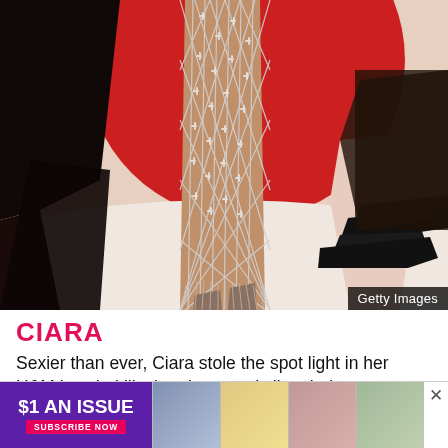[Figure (photo): Close-up photo of a person wearing a silver chainmail/jeweled illusion dress on a red carpet, showing legs and feet in metallic chain-covered high heels. Red and white circular background visible. Dark-clad figure on left, another person's feet in black flats on right.]
Getty Images
CIARA
Sexier than ever, Ciara stole the spot light in her H&M jeweled illusion dress and silver hair.
[Figure (infographic): Advertisement banner: $1 AN ISSUE - SUBSCRIBE NOW with US Weekly magazine covers]